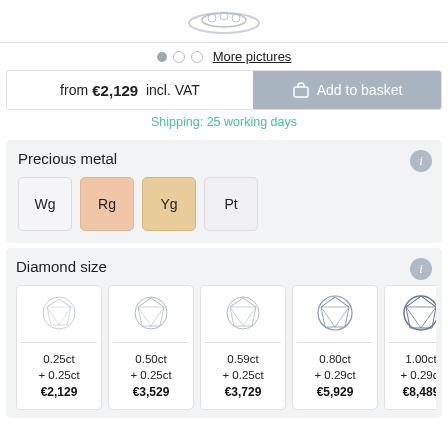[Figure (photo): Partial view of a jewelry piece (ring/bracelet) at the top of the page]
More pictures
from €2,129 incl. VAT
Add to basket
Shipping: 25 working days
Precious metal
Wg  Rg  Yg  Pt
Diamond size
| Size | Extra | Price |
| --- | --- | --- |
| 0.25ct | + 0.25ct | €2,129 |
| 0.50ct | + 0.25ct | €3,529 |
| 0.59ct | + 0.25ct | €3,729 |
| 0.80ct | + 0.29ct | €5,929 |
| 1.00ct | + 0.29ct | €8,489 |